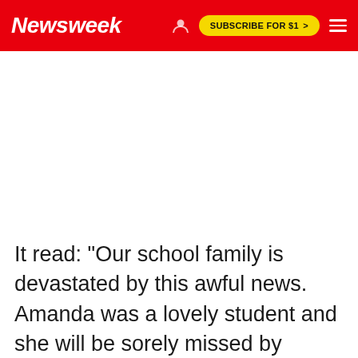Newsweek | SUBSCRIBE FOR $1 >
It read: "Our school family is devastated by this awful news. Amanda was a lovely student and she will be sorely missed by students and staff."